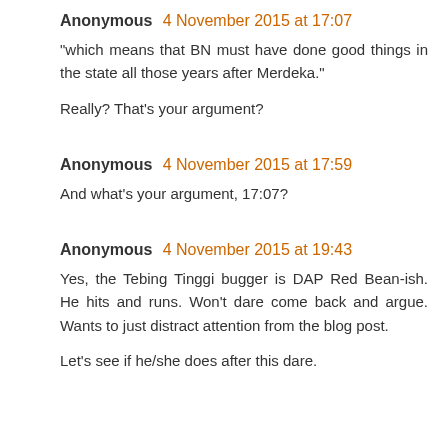Anonymous 4 November 2015 at 17:07
"which means that BN must have done good things in the state all those years after Merdeka."

Really? That's your argument?
Anonymous 4 November 2015 at 17:59
And what's your argument, 17:07?
Anonymous 4 November 2015 at 19:43
Yes, the Tebing Tinggi bugger is DAP Red Bean-ish. He hits and runs. Won't dare come back and argue. Wants to just distract attention from the blog post.

Let's see if he/she does after this dare.